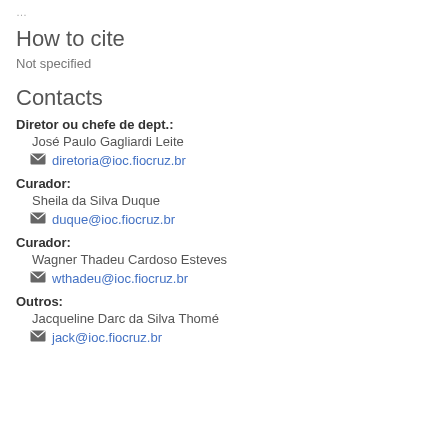…
How to cite
Not specified
Contacts
Diretor ou chefe de dept.:
José Paulo Gagliardi Leite
diretoria@ioc.fiocruz.br
Curador:
Sheila da Silva Duque
duque@ioc.fiocruz.br
Curador:
Wagner Thadeu Cardoso Esteves
wthadeu@ioc.fiocruz.br
Outros:
Jacqueline Darc da Silva Thomé
jack@ioc.fiocruz.br